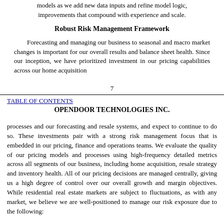models as we add new data inputs and refine model logic, improvements that compound with experience and scale.
Robust Risk Management Framework
Forecasting and managing our business to seasonal and macro market changes is important for our overall results and balance sheet health. Since our inception, we have prioritized investment in our pricing capabilities across our home acquisition
7
TABLE OF CONTENTS
OPENDOOR TECHNOLOGIES INC.
processes and our forecasting and resale systems, and expect to continue to do so. These investments pair with a strong risk management focus that is embedded in our pricing, finance and operations teams. We evaluate the quality of our pricing models and processes using high-frequency detailed metrics across all segments of our business, including home acquisition, resale strategy and inventory health. All of our pricing decisions are managed centrally, giving us a high degree of control over our overall growth and margin objectives. While residential real estate markets are subject to fluctuations, as with any market, we believe we are well-positioned to manage our risk exposure due to the following: